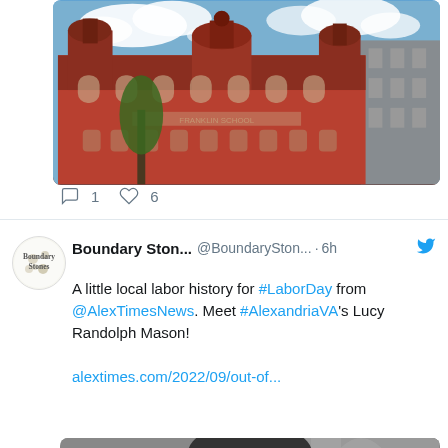[Figure (photo): Photo of a red brick historic building (Franklin School) against a blue sky with clouds. The building has Victorian architecture with turrets and arched windows.]
1   6
[Figure (logo): Boundary Stones circular logo/avatar — white circle with text 'Boundary Stones' in serif font]
Boundary Ston... @BoundarySton... · 6h
A little local labor history for #LaborDay from @AlexTimesNews. Meet #AlexandriaVA's Lucy Randolph Mason!

alextimes.com/2022/09/out-of...
[Figure (photo): Black and white photograph of Lucy Randolph Mason, a woman wearing a chain necklace and dark jacket with a brooch, cropped at the shoulders.]